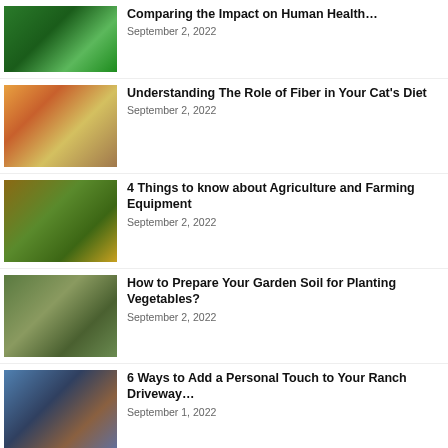[Figure (photo): Green corn field with figure in background]
Comparing the Impact on Human Health…
September 2, 2022
[Figure (photo): Cat surrounded by colorful fruits and vegetables]
Understanding The Role of Fiber in Your Cat's Diet
September 2, 2022
[Figure (photo): Green tractor with large farming equipment in field]
4 Things to know about Agriculture and Farming Equipment
September 2, 2022
[Figure (photo): Aerial view of garden soil prepared for planting]
How to Prepare Your Garden Soil for Planting Vegetables?
September 2, 2022
[Figure (photo): Ranch driveway with decorative iron gate]
6 Ways to Add a Personal Touch to Your Ranch Driveway…
September 1, 2022